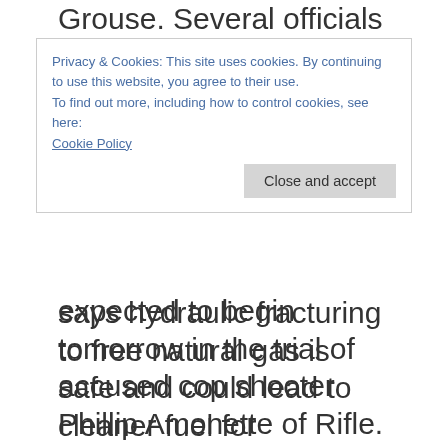Grouse. Several officials endorsing the
Privacy & Cookies: This site uses cookies. By continuing to use this website, you agree to their use.
To find out more, including how to control cookies, see here:
Cookie Policy
Close and accept
expected to begin tomorrow in the trial of accused cop shooter Phillip Amonette of Rifle. Attorneys pared down a field of 250 potential jurors to 80 yesterday. Amonette is accused of shooting a Rifle police officer in October of 2010 following a domestic disturbance. The officer was wearing a bullet
says hydraulic fracturing to free natural gas is safe and could lead to cleaner fuel for